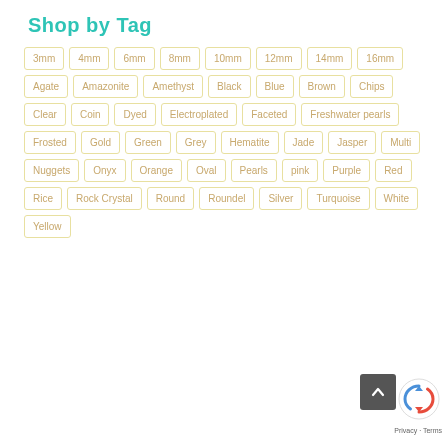Shop by Tag
3mm
4mm
6mm
8mm
10mm
12mm
14mm
16mm
Agate
Amazonite
Amethyst
Black
Blue
Brown
Chips
Clear
Coin
Dyed
Electroplated
Faceted
Freshwater pearls
Frosted
Gold
Green
Grey
Hematite
Jade
Jasper
Multi
Nuggets
Onyx
Orange
Oval
Pearls
pink
Purple
Red
Rice
Rock Crystal
Round
Roundel
Silver
Turquoise
White
Yellow